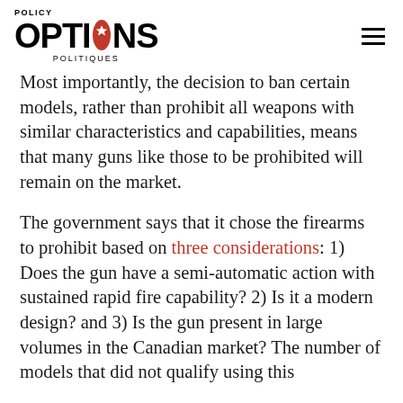POLICY OPTIONS POLITIQUES
Most importantly, the decision to ban certain models, rather than prohibit all weapons with similar characteristics and capabilities, means that many guns like those to be prohibited will remain on the market.
The government says that it chose the firearms to prohibit based on three considerations: 1) Does the gun have a semi-automatic action with sustained rapid fire capability? 2) Is it a modern design? and 3) Is the gun present in large volumes in the Canadian market? The number of models that did not qualify using this